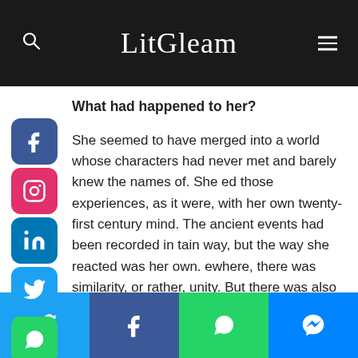LitGleam
What had happened to her?
She seemed to have merged into a world whose characters had never met and barely knew the names of. She ed those experiences, as it were, with her own twenty-first century mind. The ancient events had been recorded in tain way, but the way she reacted was her own. ewhere, there was similarity, or rather, unity. But there was also a difference—a distinction.
Had she become Charles Dodgson's Alice in a new Wonderland, passing through the Looking Glass into another Existence? Had she mounted H.G.Wells' Time
Twitter | Facebook | WhatsApp | Messenger